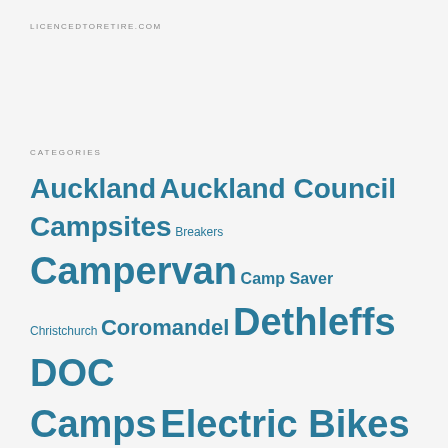LICENCEDTORETIRE.COM
CATEGORIES
Auckland Auckland Council Campsites Breakers Campervan Camp Saver Christchurch Coromandel Dethleffs DOC Camps Electric Bikes Family Ferry Crossing Fishing Freedom Camping Heritage New Zealand High Country History Hitchhikers Home